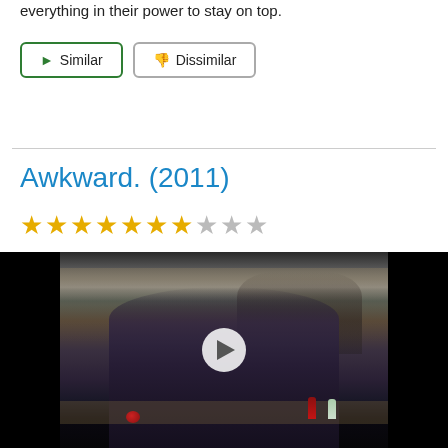everything in their power to stay on top.
Similar | Dissimilar
Awkward. (2011)
[Figure (other): Star rating showing 7 out of 10 stars filled in gold, 3 empty grey stars]
[Figure (photo): Scene from Awkward (2011) showing a teenage girl in a school cafeteria looking sad in the foreground while a couple kisses in the background. A play button overlay is visible in the center.]